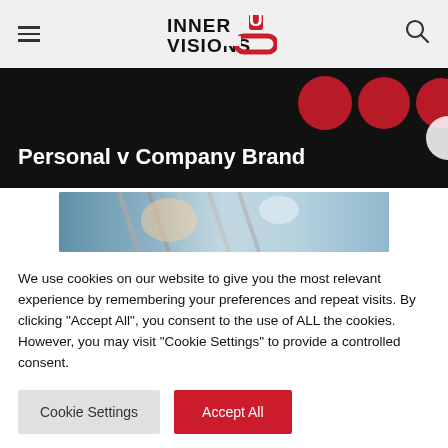Inner Visions — navigation header with hamburger menu, logo, and search icon
Personal v Company Brand
[Figure (photo): Partial photo of a person visible behind a metal structure, shown as a horizontal strip]
We use cookies on our website to give you the most relevant experience by remembering your preferences and repeat visits. By clicking "Accept All", you consent to the use of ALL the cookies. However, you may visit "Cookie Settings" to provide a controlled consent.
Cookie Settings | Accept All